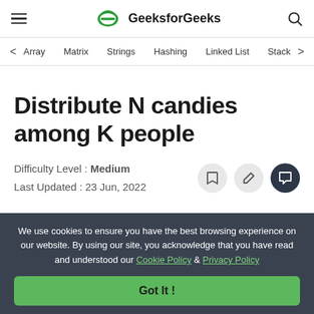GeeksforGeeks
Array  Matrix  Strings  Hashing  Linked List  Stack
Distribute N candies among K people
Difficulty Level : Medium
Last Updated : 23 Jun, 2022
We use cookies to ensure you have the best browsing experience on our website. By using our site, you acknowledge that you have read and understood our Cookie Policy & Privacy Policy
Got It !